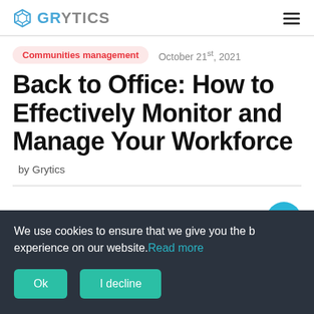GRYTICS
Communities management   October 21st, 2021
Back to Office: How to Effectively Monitor and Manage Your Workforce
by Grytics
We use cookies to ensure that we give you the best experience on our website. Read more
Ok   I decline